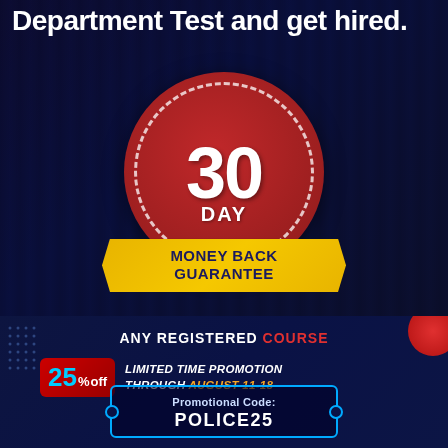Department Test and get hired.
[Figure (illustration): 30 Day Money Back Guarantee badge: red circle with dashed white border, large '30' text, 'DAY' text below, yellow ribbon banner with 'MONEY BACK GUARANTEE' text in dark blue]
ANY REGISTERED COURSE
25% off LIMITED TIME PROMOTION THROUGH AUGUST 11-18
Promotional Code: POLICE25